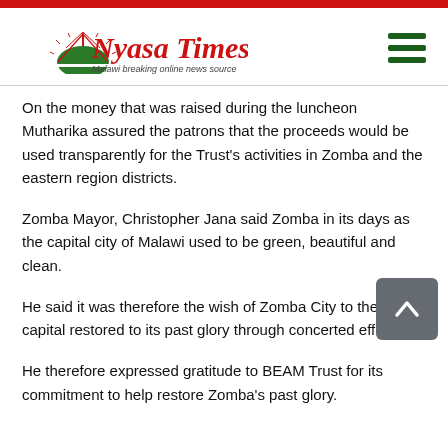Nyasa Times — Malawi breaking online news source
On the money that was raised during the luncheon Mutharika assured the patrons that the proceeds would be used transparently for the Trust's activities in Zomba and the eastern region districts.
Zomba Mayor, Christopher Jana said Zomba in its days as the capital city of Malawi used to be green, beautiful and clean.
He said it was therefore the wish of Zomba City to the old capital restored to its past glory through concerted efforts.
He therefore expressed gratitude to BEAM Trust for its commitment to help restore Zomba's past glory.